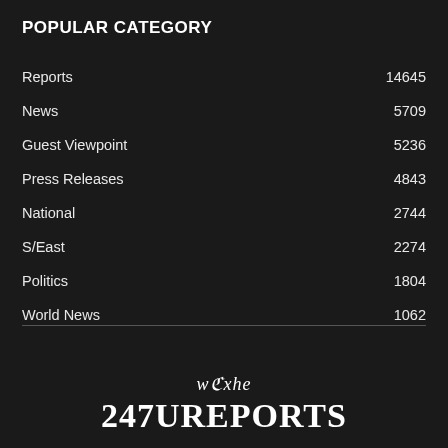POPULAR CATEGORY
Reports    14645
News    5709
Guest Viewpoint    5236
Press Releases    4843
National    2744
S/East    2274
Politics    1804
World News    1062
[Figure (logo): The 247Ureports newspaper logo in old English / blackletter style]